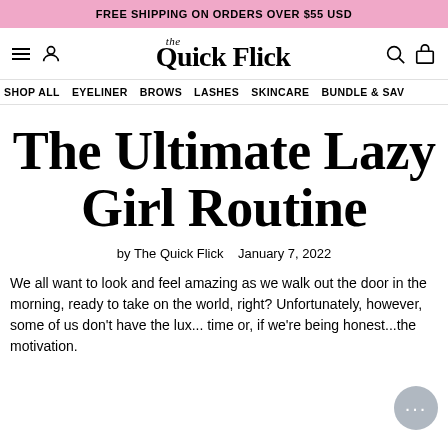FREE SHIPPING ON ORDERS OVER $55 USD
[Figure (logo): The Quick Flick logo with navigation icons (hamburger menu, user icon, search icon, cart icon) and navigation menu items: SHOP ALL, EYELINER, BROWS, LASHES, SKINCARE, BUNDLE & SAVE]
The Ultimate Lazy Girl Routine
by The Quick Flick   January 7, 2022
We all want to look and feel amazing as we walk out the door in the morning, ready to take on the world, right? Unfortunately, however, some of us don't have the lux... time or, if we're being honest...the motivation.